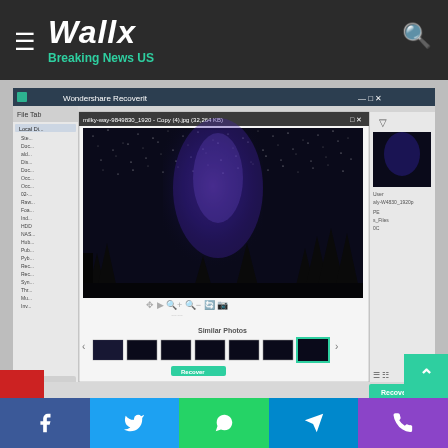Wallx — Breaking News US
[Figure (screenshot): Wondershare Recoverit application window showing a photo recovery interface. A night sky / milky way photo with silhouetted pine trees is displayed in the preview. Below are thumbnail strips of similar photos. A 'Recover' button is visible at the bottom. The title bar reads 'Wondershare Recoverit'. File name shown: milky-way-9849830_1920 - Copy (4).jpg (32,264 KB).]
[Figure (infographic): Social sharing buttons bar at the bottom: Facebook (blue), Twitter (light blue), WhatsApp (green), Telegram (dark blue), Phone/Viber (purple).]